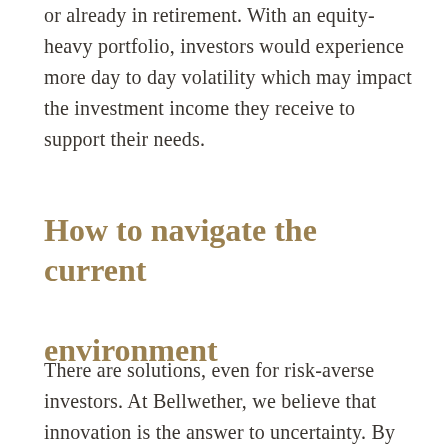or already in retirement. With an equity-heavy portfolio, investors would experience more day to day volatility which may impact the investment income they receive to support their needs.
How to navigate the current environment
There are solutions, even for risk-averse investors. At Bellwether, we believe that innovation is the answer to uncertainty. By diversifying outside of Canada, exploring